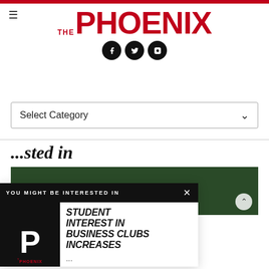THE PHOENIX
[Figure (logo): The Phoenix newspaper logo with social media icons (Facebook, Twitter, Instagram)]
Select Category
[Figure (screenshot): Popup banner: YOU MIGHT BE INTERESTED IN — STUDENT INTEREST IN BUSINESS CLUBS INCREASES, with The Phoenix logo image]
...sted in
[Figure (photo): Partial article image showing dark green foliage/plants]